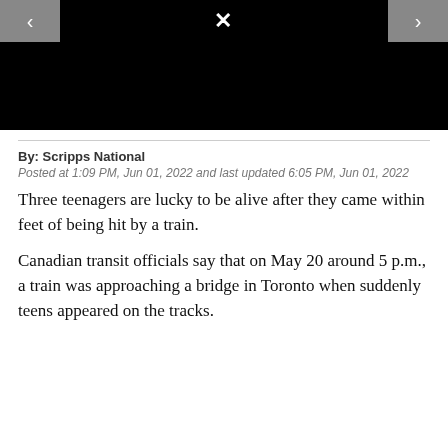[Figure (screenshot): Black video player with navigation arrows on left and right, and a close (X) button at the top center]
By: Scripps National
Posted at 1:09 PM, Jun 01, 2022 and last updated 6:05 PM, Jun 01, 2022
Three teenagers are lucky to be alive after they came within feet of being hit by a train.
Canadian transit officials say that on May 20 around 5 p.m., a train was approaching a bridge in Toronto when suddenly teens appeared on the tracks.